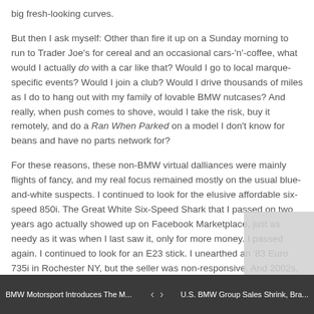big fresh-looking curves.
But then I ask myself: Other than fire it up on a Sunday morning to run to Trader Joe's for cereal and an occasional cars-'n'-coffee, what would I actually do with a car like that? Would I go to local marque-specific events? Would I join a club? Would I drive thousands of miles as I do to hang out with my family of lovable BMW nutcases? And really, when push comes to shove, would I take the risk, buy it remotely, and do a Ran When Parked on a model I don't know for beans and have no parts network for?
For these reasons, these non-BMW virtual dalliances were mainly flights of fancy, and my real focus remained mostly on the usual blue-and-white suspects. I continued to look for the elusive affordable six-speed 850i. The Great White Six-Speed Shark that I passed on two years ago actually showed up on Facebook Marketplace, just as needy as it was when I last saw it, only for more money. I passed again. I continued to look for an E23 stick. I unearthed an '83 Euro 735i in Rochester NY, but the seller was non-responsive. And 2002s, of course—but since I already have three, something would need to be awfully well-priced for me to pick up another one.
Really, I was most interested in an E30.
BMW Motorsport Introduces The M... < > U.S. BMW Group Sales Shrink, Bra...